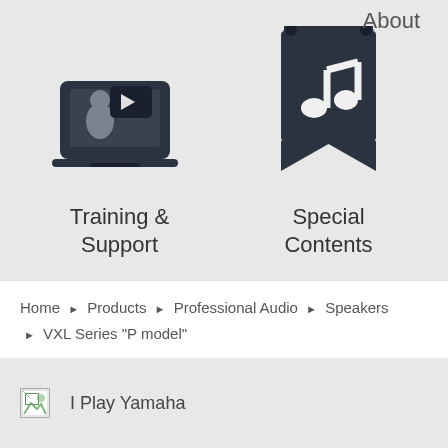About
[Figure (illustration): Icon of a person at a laptop with a video play button in a speech bubble — Training & Support]
Training & Support
[Figure (illustration): Icon of a bookmark/flag with a music note — Special Contents]
Special Contents
Home > Products > Professional Audio > Speakers > VXL Series "P model"
[Figure (illustration): Broken image placeholder]
I Play Yamaha
[Figure (illustration): Broken image placeholder]
LINE6
[Figure (logo): YouTube play button icon (red rectangle with white triangle)]